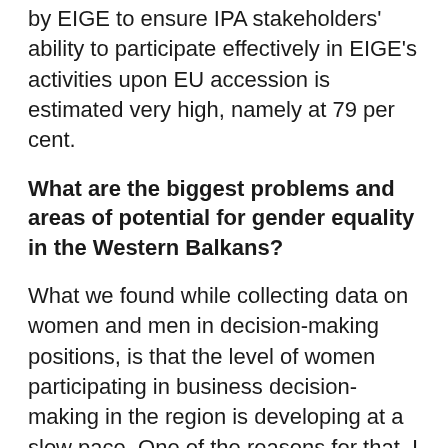by EIGE to ensure IPA stakeholders' ability to participate effectively in EIGE's activities upon EU accession is estimated very high, namely at 79 per cent.
What are the biggest problems and areas of potential for gender equality in the Western Balkans?
What we found while collecting data on women and men in decision-making positions, is that the level of women participating in business decision-making in the region is developing at a slow pace. One of the reasons for that, I believe, is that there are no quotas for women in the business sector. When we look at data on women in the business sector